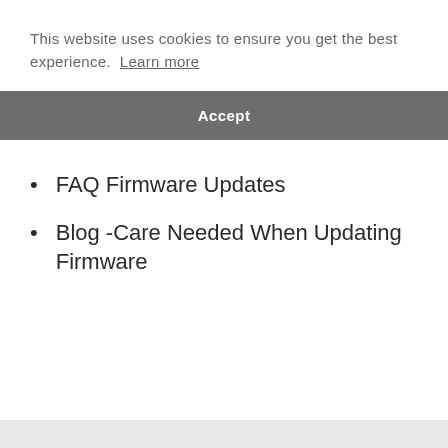This website uses cookies to ensure you get the best experience.  Learn more
Accept
FAQ Firmware Updates
Blog -Care Needed When Updating Firmware